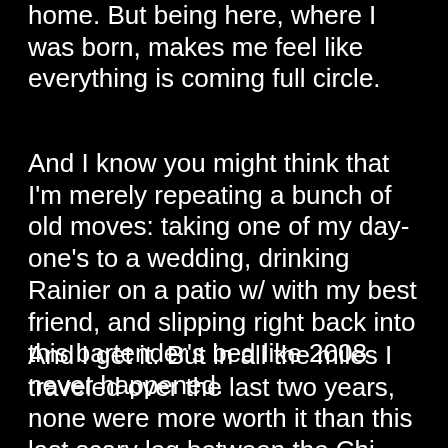home. But being here, where I was born, makes me feel like everything is coming full circle.
And I know you might think that I'm merely repeating a bunch of old moves: taking one of my day-one's to a wedding, drinking Rainier on a patio w/ with my best friend, and slipping right back into this bartender's bed like 2008 never happened.
And I get it. But in all the miles I traveled over the last two years, none were more worth it than this last scary leg between the Chi and the Pac NW.